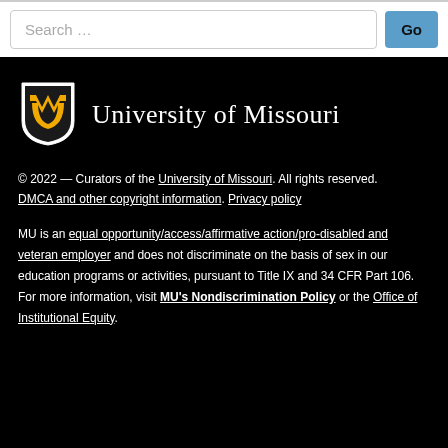[Figure (screenshot): Search bar with text input field showing 'Search …' placeholder and a blue 'Go' button]
[Figure (logo): University of Missouri logo: MU shield in gold/black with white border, next to text 'University of Missouri' in white serif font]
© 2022 — Curators of the University of Missouri. All rights reserved. DMCA and other copyright information. Privacy policy
MU is an equal opportunity/access/affirmative action/pro-disabled and veteran employer and does not discriminate on the basis of sex in our education programs or activities, pursuant to Title IX and 34 CFR Part 106. For more information, visit MU's Nondiscrimination Policy or the Office of Institutional Equity.